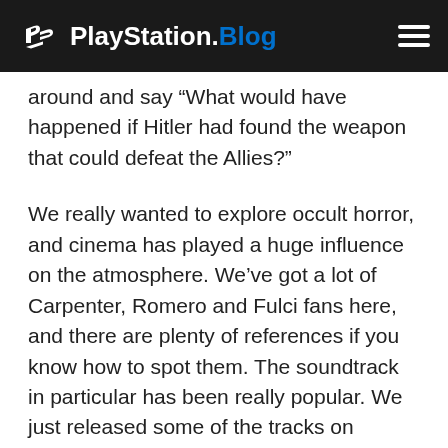PlayStation.Blog
around and say “What would have happened if Hitler had found the weapon that could defeat the Allies?”
We really wanted to explore occult horror, and cinema has played a huge influence on the atmosphere. We’ve got a lot of Carpenter, Romero and Fulci fans here, and there are plenty of references if you know how to spot them. The soundtrack in particular has been really popular. We just released some of the tracks on zombiearmy.com for free actually.
From a gameplay perspective what really makes Zombie Army Trilogy stand out is the depth to the co-op. So let...